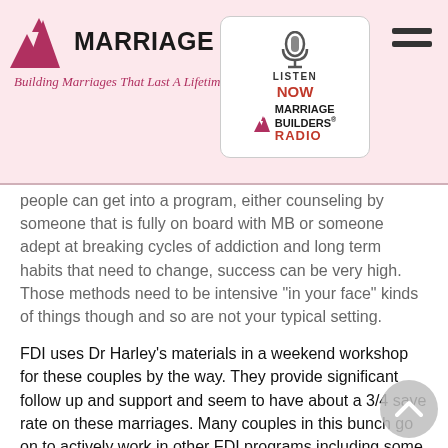Marriage Builders® — Building Marriages That Last A Lifetime | Listen Now — Marriage Builders Radio
people can get into a program, either counseling by someone that is fully on board with MB or someone adept at breaking cycles of addiction and long term habits that need to change, success can be very high. Those methods need to be intensive "in your face" kinds of things though and so are not your typical setting.
FDI uses Dr Harley's materials in a weekend workshop for these couples by the way. They provide significant follow up and support and seem to have about a 3/4 save rate on these marriages. Many couples in this bunch go on to actively work in other FDI programs including some that now teach those that are being certified to lead the other classes.
Such was the case of the couple that lead our facilitator workshop this past June. They had a divorce hearing that was pending in less than 30 days. Both had affairs, one ongoing at the time and someone at a local church talked them into trying one last thing before letting go of the marriage. After a weekend